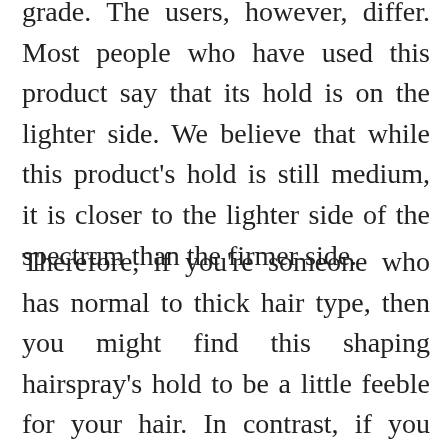company says that its strength is medium grade. The users, however, differ. Most people who have used this product say that its hold is on the lighter side. We believe that while this product's hold is still medium, it is closer to the lighter side of the spectrum than the firmer side.
Therefore, if you're someone who has normal to thick hair type, then you might find this shaping hairspray's hold to be a little feeble for your hair. In contrast, if you have fine to normal hair type, then the hold provided by this product might just be perfect. The good part, though, is that this product will not make your hair sticky or